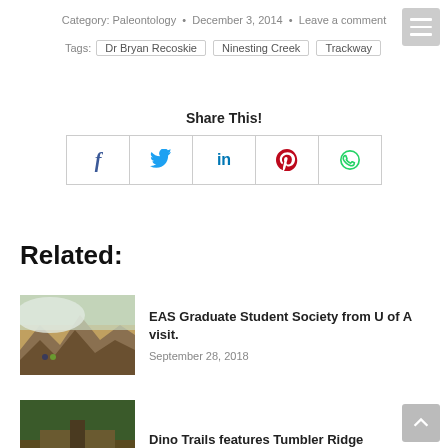Category: Paleontology • December 3, 2014 • Leave a comment
Tags: Dr Bryan Recoskie  Ninesting Creek  Trackway
Share This!
[Figure (infographic): Social share buttons: Facebook (f), Twitter (bird), LinkedIn (in), Pinterest (p), WhatsApp (phone)]
Related:
[Figure (photo): Mountain landscape with two hikers, foggy hills in background, orange/brown terrain]
EAS Graduate Student Society from U of A visit.
September 28, 2018
[Figure (photo): Green vegetation path, Dino Trails thumbnail]
Dino Trails features Tumbler Ridge